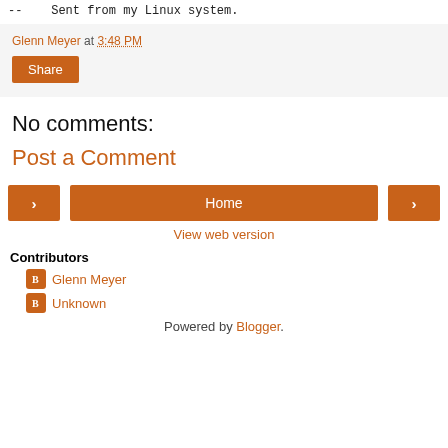--    Sent from my Linux system.
Glenn Meyer at 3:48 PM
Share
No comments:
Post a Comment
Home
View web version
Contributors
Glenn Meyer
Unknown
Powered by Blogger.